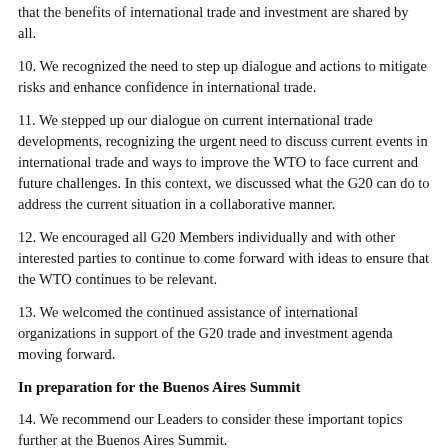that the benefits of international trade and investment are shared by all.
10. We recognized the need to step up dialogue and actions to mitigate risks and enhance confidence in international trade.
11. We stepped up our dialogue on current international trade developments, recognizing the urgent need to discuss current events in international trade and ways to improve the WTO to face current and future challenges. In this context, we discussed what the G20 can do to address the current situation in a collaborative manner.
12. We encouraged all G20 Members individually and with other interested parties to continue to come forward with ideas to ensure that the WTO continues to be relevant.
13. We welcomed the continued assistance of international organizations in support of the G20 trade and investment agenda moving forward.
In preparation for the Buenos Aires Summit
14. We recommend our Leaders to consider these important topics further at the Buenos Aires Summit.